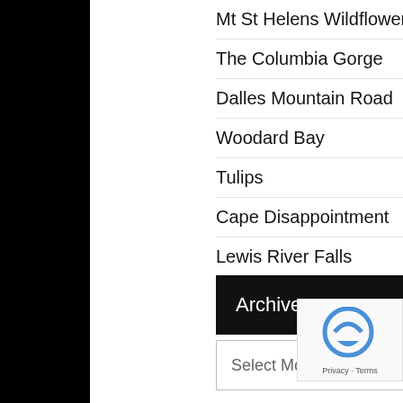Mt St Helens Wildflowers
The Columbia Gorge
Dalles Mountain Road
Woodard Bay
Tulips
Cape Disappointment
Lewis River Falls
Hike at Staircase Rapids
Archives
Select Month